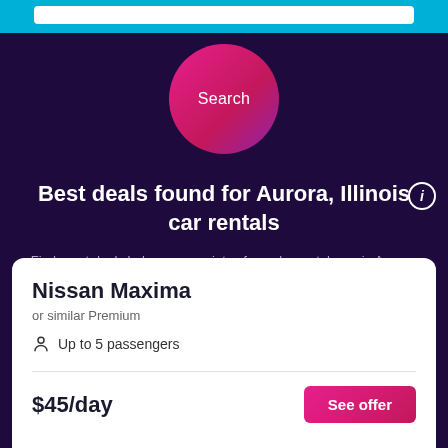[Figure (screenshot): Search input bar at top with cyan/teal background]
[Figure (other): Pink/magenta circular Search button]
Best deals found for Aurora, Illinois car rentals
Find great deals below on a variety of popular rental cars in Aurora, Illinois
Nissan Maxima
or similar Premium
Up to 5 passengers
$45/day
See offer